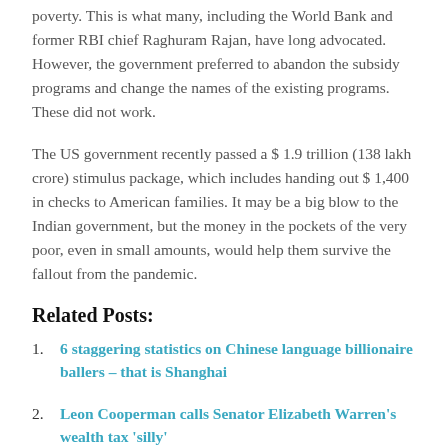poverty. This is what many, including the World Bank and former RBI chief Raghuram Rajan, have long advocated. However, the government preferred to abandon the subsidy programs and change the names of the existing programs. These did not work.
The US government recently passed a $ 1.9 trillion (138 lakh crore) stimulus package, which includes handing out $ 1,400 in checks to American families. It may be a big blow to the Indian government, but the money in the pockets of the very poor, even in small amounts, would help them survive the fallout from the pandemic.
Related Posts:
6 staggering statistics on Chinese language billionaire ballers – that is Shanghai
Leon Cooperman calls Senator Elizabeth Warren's wealth tax 'silly'